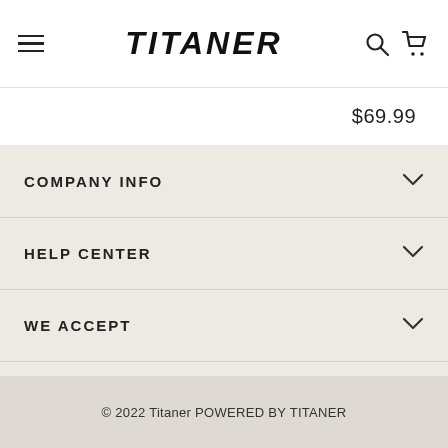TITANER
$69.99
COMPANY INFO
HELP CENTER
WE ACCEPT
© 2022 Titaner POWERED BY TITANER